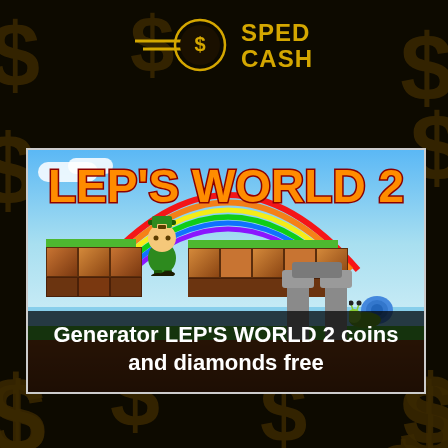[Figure (logo): SPED CASH logo with golden coin and speed lines, yellow text on dark background]
[Figure (screenshot): Lep's World 2 game screenshot showing a leprechaun character on platforms with rainbow background, snail enemy, stone structure]
Generator LEP'S WORLD 2 coins and diamonds free